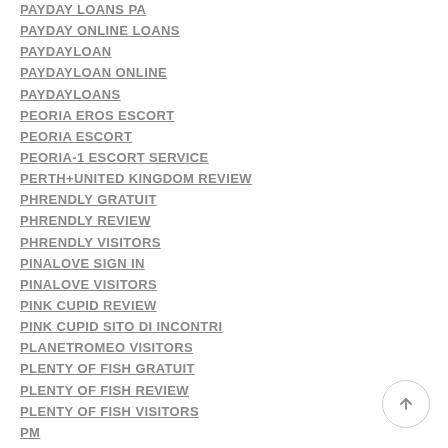PAYDAY LOANS PA
PAYDAY ONLINE LOANS
PAYDAYLOAN
PAYDAYLOAN ONLINE
PAYDAYLOANS
PEORIA EROS ESCORT
PEORIA ESCORT
PEORIA-1 ESCORT SERVICE
PERTH+UNITED KINGDOM REVIEW
PHRENDLY GRATUIT
PHRENDLY REVIEW
PHRENDLY VISITORS
PINALOVE SIGN IN
PINALOVE VISITORS
PINK CUPID REVIEW
PINK CUPID SITO DI INCONTRI
PLANETROMEO VISITORS
PLENTY OF FISH GRATUIT
PLENTY OF FISH REVIEW
PLENTY OF FISH VISITORS
PM
PM 100 TOP
POF-VS-MATCH REVIEW